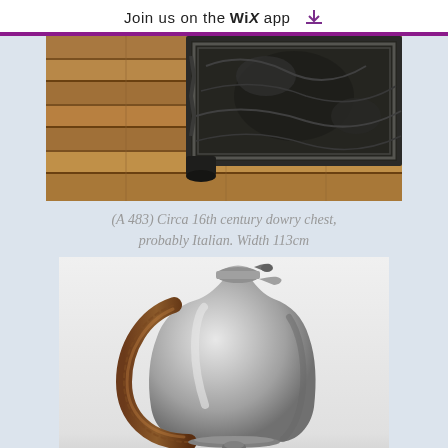Join us on the WiX app
[Figure (photo): Close-up of corner of an ornate antique carved chest on wooden floor]
(A 483) Circa 16th century dowry chest, probably Italian. Width 113cm
[Figure (photo): Silver metallic jug/pitcher with brown wicker handle and hinged lid, on white background]